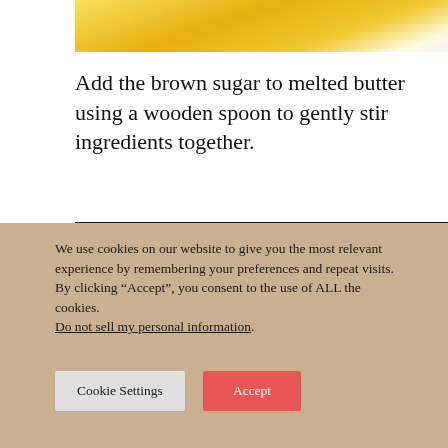[Figure (photo): Top portion of a photo showing melted butter in a bowl, yellow liquid visible]
Add the brown sugar to melted butter using a wooden spoon to gently stir ingredients together.
[Figure (photo): White ceramic bowl viewed from the side on a dark background]
We use cookies on our website to give you the most relevant experience by remembering your preferences and repeat visits. By clicking “Accept”, you consent to the use of ALL the cookies.
Do not sell my personal information.